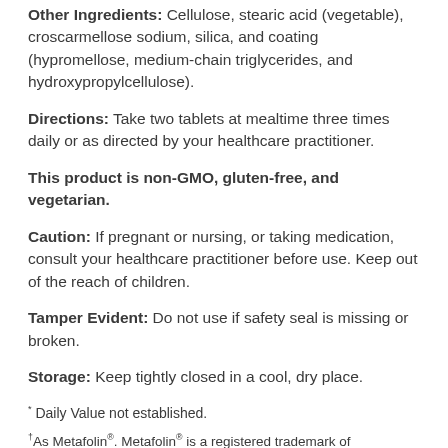Other Ingredients: Cellulose, stearic acid (vegetable), croscarmellose sodium, silica, and coating (hypromellose, medium-chain triglycerides, and hydroxypropylcellulose).
Directions: Take two tablets at mealtime three times daily or as directed by your healthcare practitioner.
This product is non-GMO, gluten-free, and vegetarian.
Caution: If pregnant or nursing, or taking medication, consult your healthcare practitioner before use. Keep out of the reach of children.
Tamper Evident: Do not use if safety seal is missing or broken.
Storage: Keep tightly closed in a cool, dry place.
* Daily Value not established.
† As Metafolin®. Metafolin® is a registered trademark of